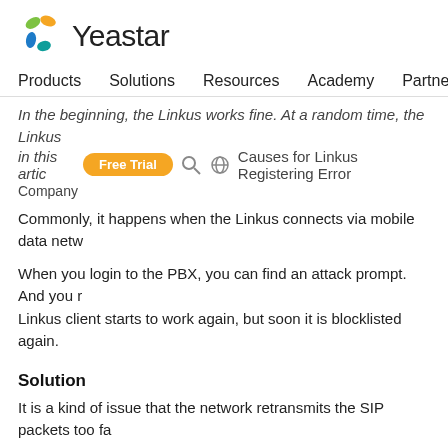[Figure (logo): Yeastar logo with colorful dots icon and text 'Yeastar']
Products  Solutions  Resources  Academy  Partners
In the beginning, the Linkus works fine. At a random time, the Linkus in this article Causes for Linkus Registering Error Company
Commonly, it happens when the Linkus connects via mobile data netw
When you login to the PBX, you can find an attack prompt. And you r Linkus client starts to work again, but soon it is blocklisted again.
Solution
It is a kind of issue that the network retransmits the SIP packets too fa
1. Try to add whitelist for the IP addresses which are frequently blockl